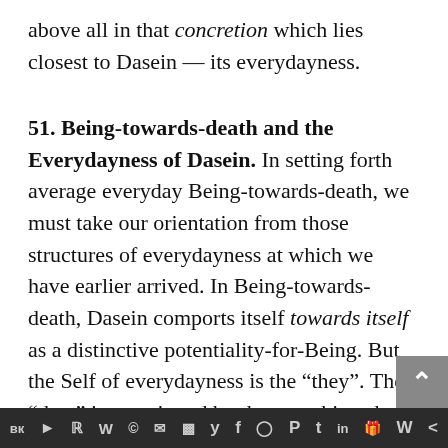above all in that concretion which lies closest to Dasein — its everydayness.
51. Being-towards-death and the Everydayness of Dasein.
In setting forth average everyday Being-towards-death, we must take our orientation from those structures of everydayness at which we have earlier arrived. In Being-towards-death, Dasein comports itself towards itself as a distinctive potentiality-for-Being. But the Self of everydayness is the “they”. The “they” is constituted by the way things have been publicly interpreted, which expresses itself in idle talk. Idle talk must accordingly make manifest the way in which
вк ◄ ℝ Ⓦ © ✉ ▣ ︎ y f Ⓞ P t in 🎁 W <